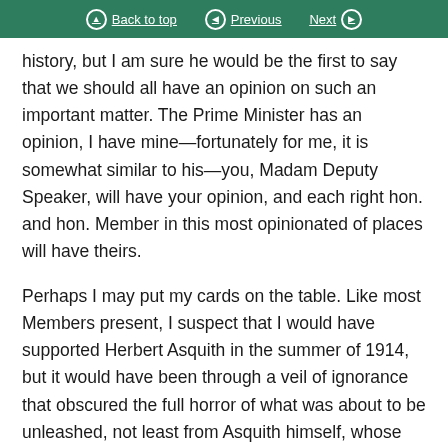Back to top  Previous  Next
history, but I am sure he would be the first to say that we should all have an opinion on such an important matter. The Prime Minister has an opinion, I have mine—fortunately for me, it is somewhat similar to his—you, Madam Deputy Speaker, will have your opinion, and each right hon. and hon. Member in this most opinionated of places will have theirs.
Perhaps I may put my cards on the table. Like most Members present, I suspect that I would have supported Herbert Asquith in the summer of 1914, but it would have been through a veil of ignorance that obscured the full horror of what was about to be unleashed, not least from Asquith himself, whose brilliant son Raymond was killed two years later on